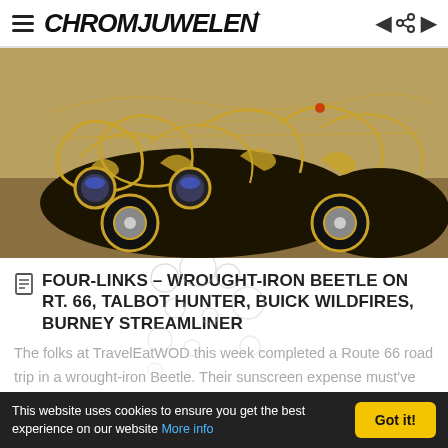CHROMJUWELEN
[Figure (photo): Ornate wrought-iron Volkswagen Beetle art car with gold metalwork scrollwork and blue-capped headlights, photographed outdoors]
FOUR-LINKS – WROUGHT-IRON BEETLE ON RT. 66, TALBOT HUNTER, BUICK WILDFIRES, BURNEY STREAMLINER
The folks at TravelEatWOD this week completed a Route 66 road trip in a wrought-iron Beetle. Their sunscreen expense must've matched their gas expense…* Esquire this week profiled Joe Ford, a car de…
This website uses cookies to ensure you get the best experience on our website More info